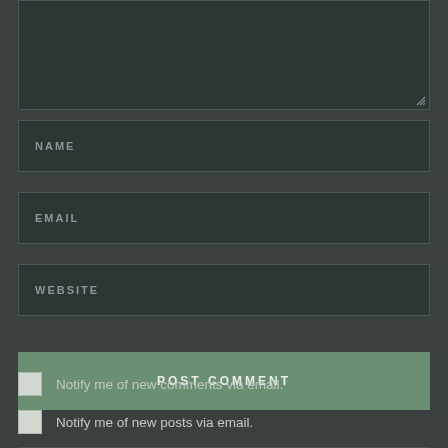[Figure (screenshot): Comment form with textarea (partially visible at top), NAME input field, EMAIL input field, WEBSITE input field, POST COMMENT button, and two checkboxes for email notifications]
NAME
EMAIL
WEBSITE
POST COMMENT
Notify me of new comments via email.
Notify me of new posts via email.